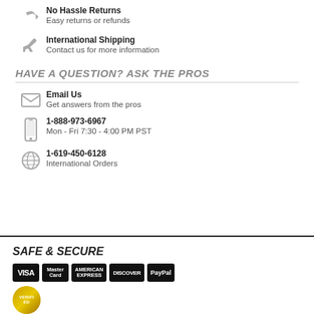No Hassle Returns
Easy returns or refunds
International Shipping
Contact us for more information
HAVE A QUESTION? ASK THE PROS
Email Us
Get answers from the pros
1-888-973-6967
Mon - Fri 7:30 - 4:00 PM PST
1-619-450-6128
International Orders
SAFE & SECURE
[Figure (other): Payment method badges: VISA, MasterCard, American Express, Discover, PayPal]
[Figure (other): Verified security badge/seal (gold circular badge)]